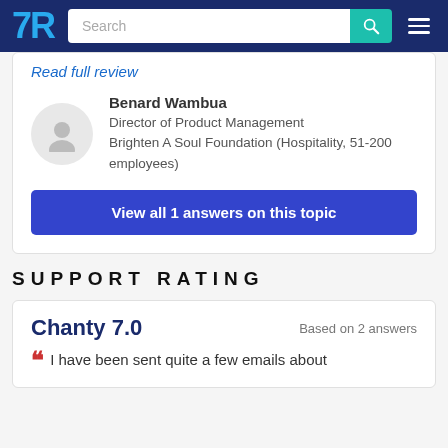TrustRadius — Search bar and navigation menu
Read full review
Benard Wambua
Director of Product Management
Brighten A Soul Foundation (Hospitality, 51-200 employees)
View all 1 answers on this topic
SUPPORT RATING
Chanty 7.0
Based on 2 answers
I have been sent quite a few emails about